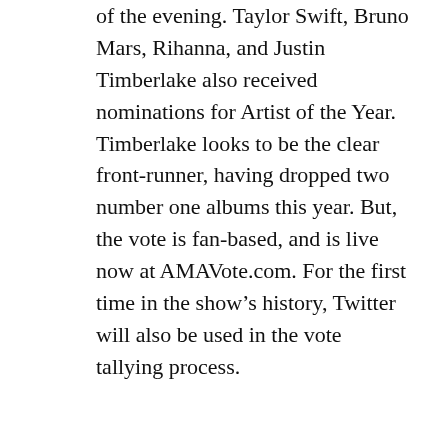of the evening. Taylor Swift, Bruno Mars, Rihanna, and Justin Timberlake also received nominations for Artist of the Year. Timberlake looks to be the clear front-runner, having dropped two number one albums this year. But, the vote is fan-based, and is live now at AMAVote.com. For the first time in the show's history, Twitter will also be used in the vote tallying process.
If it's any consolation to the “Thrift Shop” artists, there’s at least one person who thinks they can take home the big award. The support though comes from an unlikely source: former N’Sync member Lance Bass.
“Macklemore and Ryan Lewis really just had such a stellar year,” Bass told me after the press conference. For the fourth consecutive year he will co-host the Coca Cola Red Carpet broadcast prior